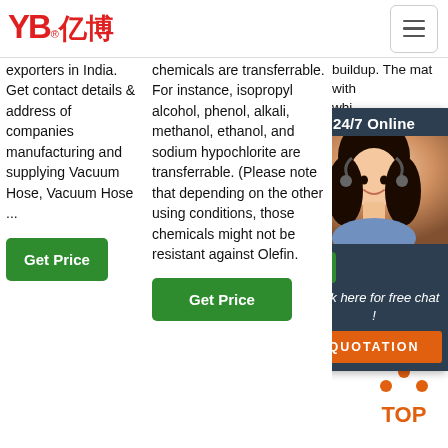[Figure (logo): YB亿博 logo in red with registered trademark symbol and hamburger menu icon]
exporters in India. Get contact details & address of companies manufacturing and supplying Vacuum Hose, Vacuum Hose ...
[Figure (other): Get Price green button]
chemicals are transferrable. For instance, isopropyl alcohol, phenol, alkali, methanol, ethanol, and sodium hypochlorite are transferrable. (Please note that depending on the other using conditions, those chemicals might not be resistant against Olefin.
[Figure (other): Get Price green button]
buildup. The mat... with... whi... stat... fron...
[Figure (other): 24/7 Online chat widget with agent photo, Click here for free chat!, QUOTATION button]
[Figure (other): TOP icon with orange dots and text]